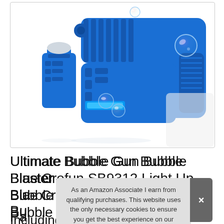[Figure (photo): Blue bubble gun blaster toy with separate bottle of bubble solution. The toy is bright blue, gun-shaped with multiple nozzles, surrounded by floating bubbles on white background.]
Ultimate Bubble Gun Bubble Blaster – Blue Crefun SB9312 Light Up Bubble Bla... Bu... Pa... Including 2 Bubble Solution
As an Amazon Associate I earn from qualifying purchases. This website uses the only necessary cookies to ensure you get the best experience on our website. More information